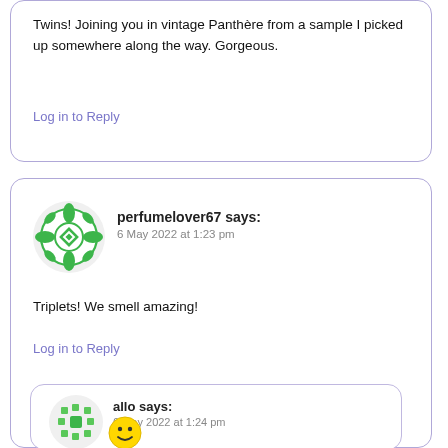Twins! Joining you in vintage Panthère from a sample I picked up somewhere along the way. Gorgeous.
Log in to Reply
[Figure (illustration): Green geometric mandala-style avatar icon for user perfumelover67]
perfumelover67 says:
6 May 2022 at 1:23 pm
Triplets! We smell amazing!
Log in to Reply
[Figure (illustration): Smaller green geometric pixel-style avatar icon for user allo]
allo says:
6 May 2022 at 1:24 pm
[Figure (illustration): Smiley face emoji at the bottom of the page]